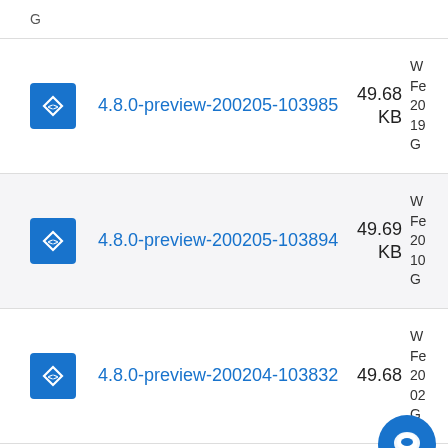4.8.0-preview-200205-103985 49.68 KB
4.8.0-preview-200205-103894 49.69 KB
4.8.0-preview-200204-103832 49.68